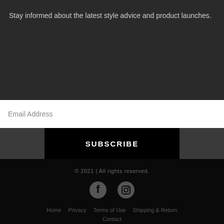Stay informed about the latest style advice and product launches.
Email Address
SUBSCRIBE
© 2021 | All rights reserved.
[Figure (illustration): Facebook and Instagram social media icons]
Home   Privacy   Terms of Use   Shipping & Return
Contact